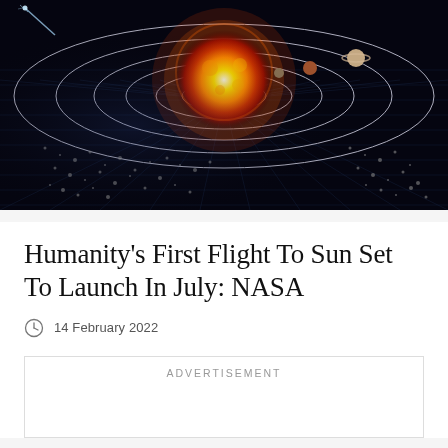[Figure (illustration): Space illustration showing a solar system with a glowing orange-red sun at center, concentric orbital rings around it with planets visible, set against a black grid/space background. A comet is visible in the upper left. Asteroid belt visible in lower portion.]
Humanity's First Flight To Sun Set To Launch In July: NASA
14 February 2022
ADVERTISEMENT